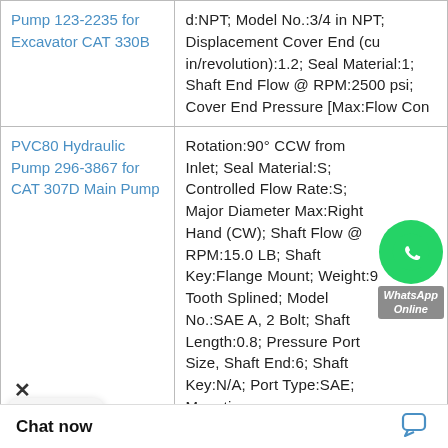| Product | Specifications |
| --- | --- |
| Pump 123-2235 for Excavator CAT 330B | d:NPT; Model No.:3/4 in NPT; Displacement Cover End (cu in/revolution):1.2; Seal Material:1; Shaft End Flow @ RPM:2500 psi; Cover End Pressure [Max:Flow Con |
| PVC80 Hydraulic Pump 296-3867 for CAT 307D Main Pump | Rotation:90° CCW from Inlet; Seal Material:S; Controlled Flow Rate:S; Major Diameter Max:Right Hand (CW); Shaft Flow @ RPM:15.0 LB; Shaft Key:Flange Mount; Weight:9 Tooth Splined; Model No.:SAE A, 2 Bolt; Shaft Length:0.8; Pressure Port Size, Shaft End:6; Shaft Key:N/A; Port Type:SAE; Mounting |
|  | Shaft End Pressure [Max:1 1/4 odel No.:2500; Ma r [Max:Flange Mou |